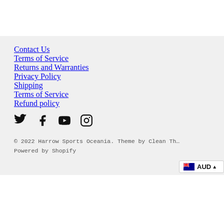Contact Us
Terms of Service
Returns and Warranties
Privacy Policy
Shipping
Terms of Service
Refund policy
[Figure (other): Social media icons: Twitter, Facebook, YouTube, Instagram]
© 2022 Harrow Sports Oceania. Theme by Clean Th…
Powered by Shopify